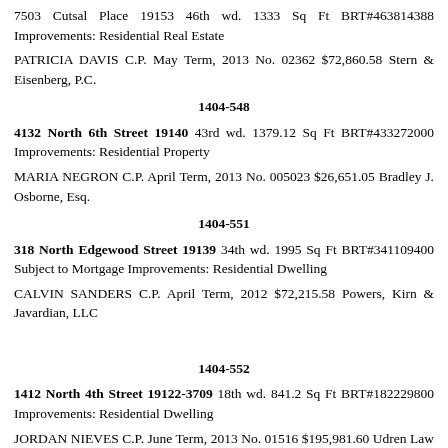7503 Cutsal Place 19153 46th wd. 1333 Sq Ft BRT#463814388 Improvements: Residential Real Estate
PATRICIA DAVIS C.P. May Term, 2013 No. 02362 $72,860.58 Stern & Eisenberg, P.C.
1404-548
4132 North 6th Street 19140 43rd wd. 1379.12 Sq Ft BRT#433272000 Improvements: Residential Property
MARIA NEGRON C.P. April Term, 2013 No. 005023 $26,651.05 Bradley J. Osborne, Esq.
1404-551
318 North Edgewood Street 19139 34th wd. 1995 Sq Ft BRT#341109400 Subject to Mortgage Improvements: Residential Dwelling
CALVIN SANDERS C.P. April Term, 2012 $72,215.58 Powers, Kirn & Javardian, LLC
1404-552
1412 North 4th Street 19122-3709 18th wd. 841.2 Sq Ft BRT#182229800 Improvements: Residential Dwelling
JORDAN NIEVES C.P. June Term, 2013 No. 01516 $195,981.60 Udren Law Offices, P.C.